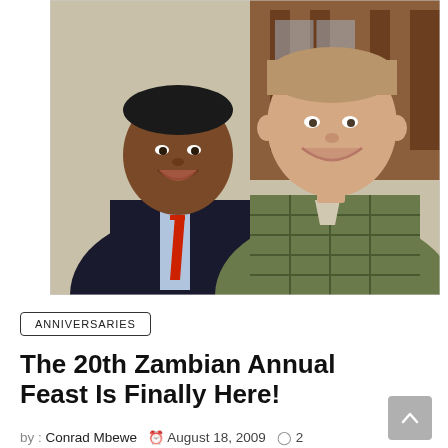[Figure (photo): Two men smiling for a photo outdoors. The man on the left has dark hair and is wearing a dark suit with a red tie and light blue shirt. The man on the right has lighter hair, is taller, and is wearing a green plaid/checkered shirt. A wooden structure is visible in the background.]
ANNIVERSARIES
The 20th Zambian Annual Feast Is Finally Here!
by : Conrad Mbewe   August 18, 2009   2